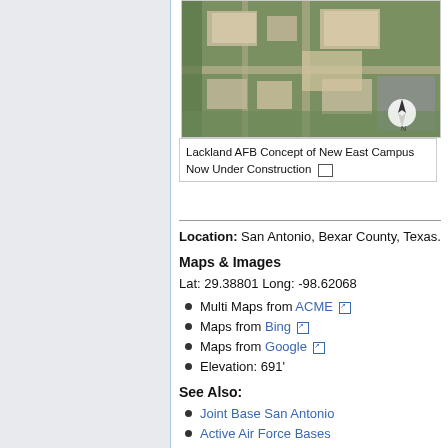[Figure (photo): Aerial concept rendering of Lackland AFB New East Campus under construction]
Lackland AFB Concept of New East Campus Now Under Construction
Location: San Antonio, Bexar County, Texas.
Maps & Images
Lat: 29.38801 Long: -98.62068
Multi Maps from ACME
Maps from Bing
Maps from Google
Elevation: 691'
See Also:
Joint Base San Antonio
Active Air Force Bases
Lackland Air Force Base Radar Site